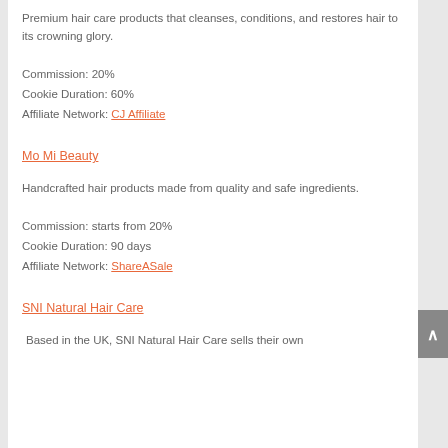Premium hair care products that cleanses, conditions, and restores hair to its crowning glory.
Commission: 20%
Cookie Duration: 60%
Affiliate Network: CJ Affiliate
Mo Mi Beauty
Handcrafted hair products made from quality and safe ingredients.
Commission: starts from 20%
Cookie Duration: 90 days
Affiliate Network: ShareASale
SNI Natural Hair Care
Based in the UK, SNI Natural Hair Care sells their own